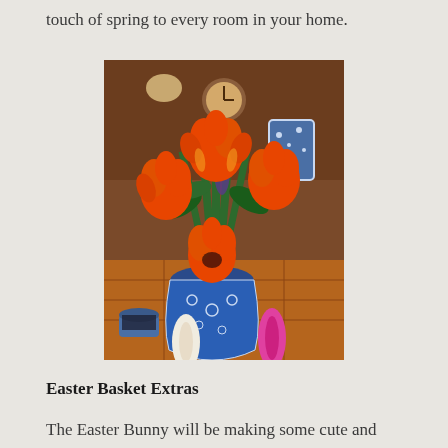touch of spring to every room in your home.
[Figure (photo): Orange parrot tulips arranged in a blue and white decorative vase, with bunny ear decorations visible at the bottom, set in a shop or home interior with clocks and blue pottery in the background.]
Easter Basket Extras
The Easter Bunny will be making some cute and